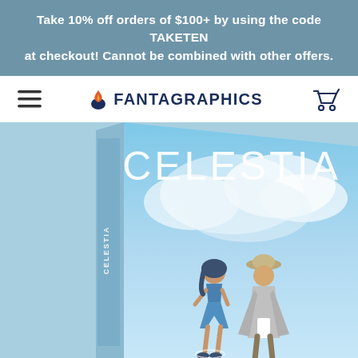Take 10% off orders of $100+ by using the code TAKETEN at checkout! Cannot be combined with other offers.
[Figure (logo): Fantagraphics logo with flame icon and navigation bar including hamburger menu and cart icon]
[Figure (photo): Book cover of 'Celestia' showing two illustrated characters — a young woman in blue dress and an older man in a hat and gray cape — standing against a sky-blue background with clouds. The title CELESTIA is written in large white letters. The book is shown at an angle with its spine visible on the left.]